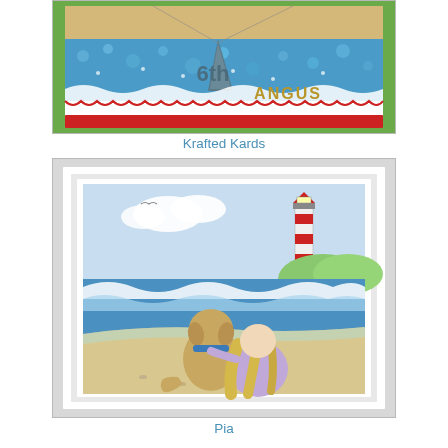[Figure (photo): Close-up of a handmade birthday card featuring ocean waves with a shark fin, '6th' text, and 'ANGUS' in gold letters, on a green background with white scalloped border and red trim.]
Krafted Kards
[Figure (illustration): Illustration on a white framed card showing a girl and a dog sitting together on a beach, facing a lighthouse and ocean waves, with a light blue sky and clouds.]
Pia